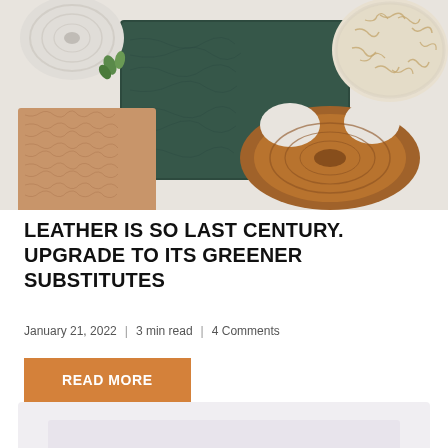[Figure (photo): Flat lay photo of natural leather substitute materials: mushroom/fungal pieces, dark green textured leather swatch, cork/plant-based leather square, wood slice cross-section, and a bowl of wood shavings/material on a light background]
LEATHER IS SO LAST CENTURY. UPGRADE TO ITS GREENER SUBSTITUTES
January 21, 2022  |  3 min read  |  4 Comments
READ MORE